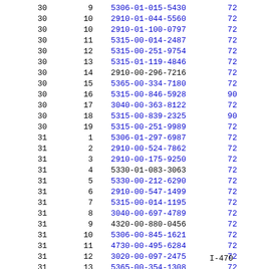| Col1 | Col2 | Col3 | Col4 |
| --- | --- | --- | --- |
| 30 | 9 | 5306-01-015-5430 | 72 |
| 30 | 10 | 2910-01-044-5560 | 72 |
| 30 | 10 | 2910-01-100-0797 | 72 |
| 30 | 11 | 5315-00-014-2487 | 72 |
| 30 | 12 | 5315-00-251-9754 | 72 |
| 30 | 13 | 5315-01-119-4846 | 72 |
| 30 | 14 | 2910-00-296-7216 | 72 |
| 30 | 15 | 5365-00-334-7180 | 72 |
| 30 | 16 | 5315-00-846-5928 | 90 |
| 30 | 17 | 3040-00-363-8122 | 72 |
| 30 | 18 | 5315-00-839-2325 | 90 |
| 30 | 19 | 5315-00-251-9989 | 72 |
| 31 | 1 | 5306-01-297-6987 | 72 |
| 31 | 2 | 2910-00-524-7862 | 72 |
| 31 | 3 | 2910-00-175-9250 | 72 |
| 31 | 4 | 5330-01-083-3063 | 72 |
| 31 | 5 | 5330-00-212-6290 | 72 |
| 31 | 6 | 2910-00-547-1499 | 72 |
| 31 | 7 | 5315-00-014-1195 | 72 |
| 31 | 8 | 3040-00-697-4789 | 72 |
| 31 | 9 | 4320-00-880-0456 | 72 |
| 31 | 10 | 5306-00-845-1621 | 72 |
| 31 | 11 | 4730-00-495-6284 | 72 |
| 31 | 12 | 3020-00-097-2475 | 72 |
| 31 | 13 | 5365-00-354-1308 | 72 |
I-470